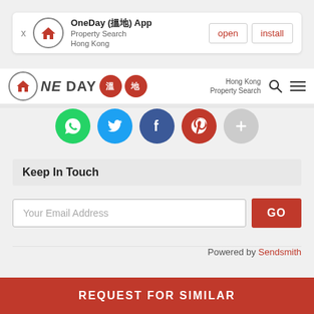[Figure (screenshot): App install banner for OneDay (搵地) App - Property Search Hong Kong, with open and install buttons]
[Figure (screenshot): OneDay 搵地 navigation bar with logo, Hong Kong Property Search text, search icon, and hamburger menu]
[Figure (infographic): Social sharing icons row: WhatsApp (green), Twitter (blue), Facebook (dark blue), Pinterest (red), More (grey)]
Keep In Touch
[Figure (screenshot): Email subscription form with 'Your Email Address' input field and red GO button]
Powered by Sendsmith
REQUEST FOR SIMILAR